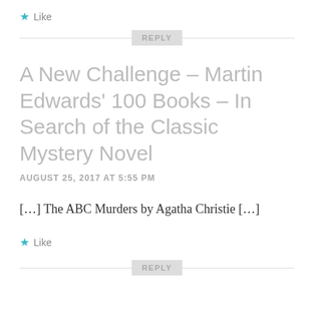★ Like
[Figure (other): REPLY button centered on a horizontal divider line]
A New Challenge – Martin Edwards' 100 Books – In Search of the Classic Mystery Novel
AUGUST 25, 2017 AT 5:55 PM
[…] The ABC Murders by Agatha Christie […]
★ Like
[Figure (other): REPLY button centered on a horizontal divider line (partially visible at bottom)]